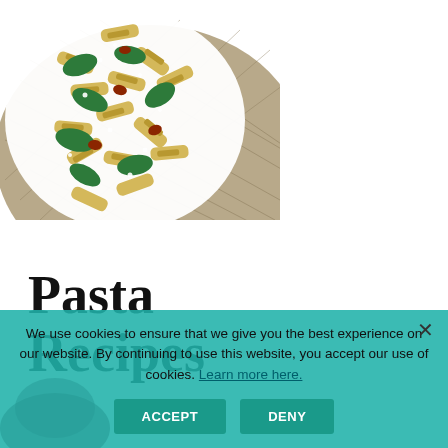[Figure (photo): A white plate of penne pasta with spinach and sun-dried tomatoes, sprinkled with grated cheese, placed on a woven placemat. The photo is cropped showing mostly the upper portion of the plate.]
Pasta Recipes
We use cookies to ensure that we give you the best experience on our website. By continuing to use this website, you accept our use of cookies. Learn more here.
ACCEPT   DENY